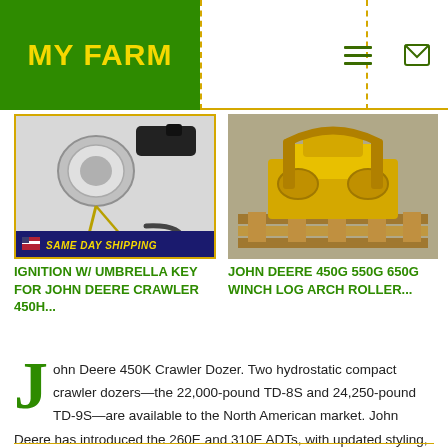MY FARM
[Figure (photo): Ignition with umbrella key for John Deere Crawler 450H, with same day shipping banner]
IGNITION W/ UMBRELLA KEY FOR JOHN DEERE CRAWLER 450H...
[Figure (photo): John Deere 450G 550G 650G Winch Log Arch Roller on a wooden pallet]
JOHN DEERE 450G 550G 650G WINCH LOG ARCH ROLLER...
John Deere 450K Crawler Dozer. Two hydrostatic compact crawler dozers—the 22,000-pound TD-8S and 24,250-pound TD-9S—are available to the North American market. John Deere has introduced the 260E and 310E ADTs, with updated styling, and new cabs, frames, and axles compared to their D .......